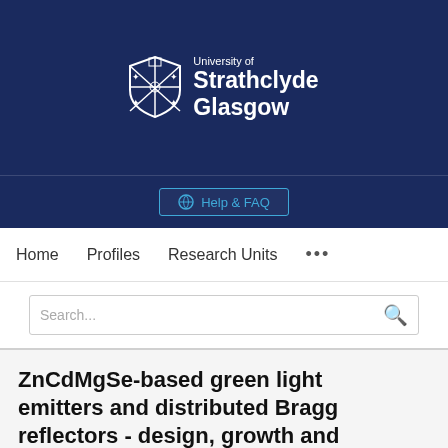[Figure (logo): University of Strathclyde Glasgow logo with shield/crest and white text on dark navy background]
Help & FAQ
Home   Profiles   Research Units   ...
Search...
ZnCdMgSe-based green light emitters and distributed Bragg reflectors - design, growth and characterization
Joel De Jesus, Theo Garcia, Vladimir Kartagenou, Syrron...